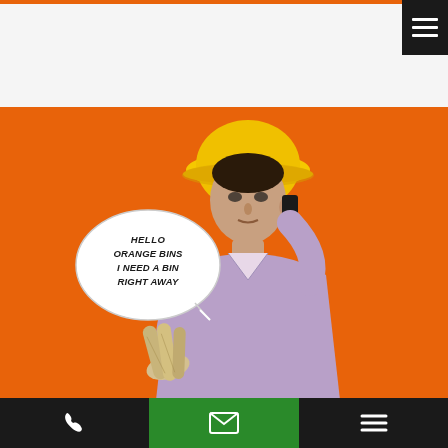[Figure (screenshot): Website screenshot showing a construction worker in a yellow hard hat holding blueprints and talking on a phone, with a speech bubble reading 'Hello Orange Bins I need a bin right away', on an orange background. Header area at top is white/light gray with orange accent line. Bottom navigation bar has phone icon (left, dark), email icon (center, green), and hamburger menu (right, dark). Top-right has a hamburger menu button (dark).]
HELLO ORANGE BINS I NEED A BIN RIGHT AWAY